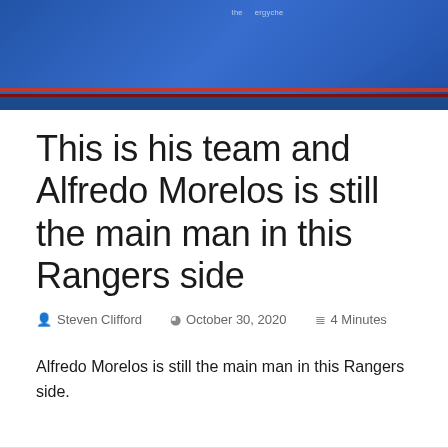[Figure (photo): Hero image showing a footballer in a blue jersey with sponsor text, set against a blue background with red and dark stripe at the bottom]
This is his team and Alfredo Morelos is still the main man in this Rangers side
Steven Clifford   October 30, 2020   4 Minutes
Alfredo Morelos is still the main man in this Rangers side.